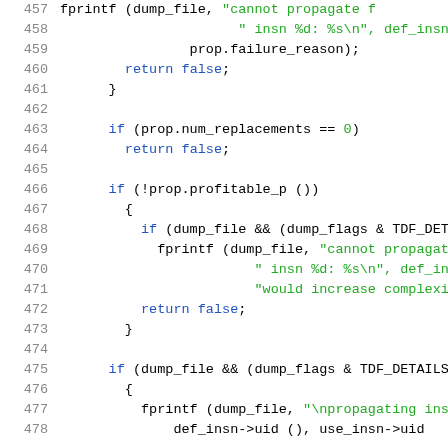[Figure (screenshot): Source code listing showing lines 457-478 of a C/C++ program. Line numbers in gray on the left. Code uses blue keywords and green string literals.]